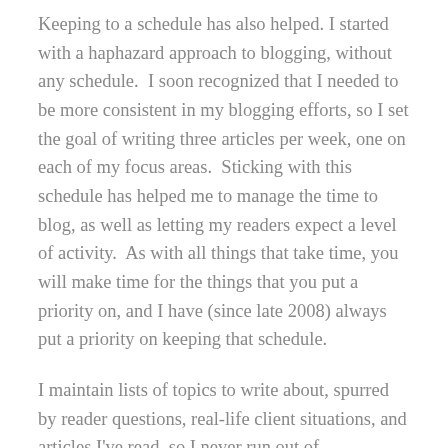Keeping to a schedule has also helped. I started with a haphazard approach to blogging, without any schedule.  I soon recognized that I needed to be more consistent in my blogging efforts, so I set the goal of writing three articles per week, one on each of my focus areas.  Sticking with this schedule has helped me to manage the time to blog, as well as letting my readers expect a level of activity.  As with all things that take time, you will make time for the things that you put a priority on, and I have (since late 2008) always put a priority on keeping that schedule.
I maintain lists of topics to write about, spurred by reader questions, real-life client situations, and articles I've read, so I never run out of